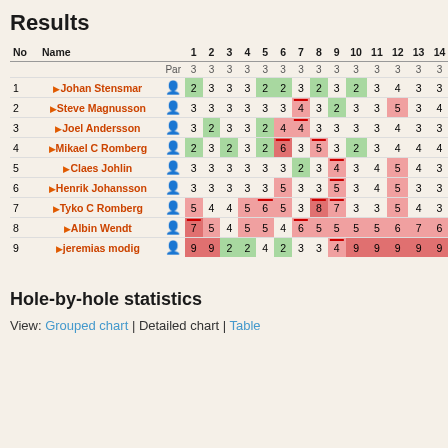Results
| No | Name |  | 1 | 2 | 3 | 4 | 5 | 6 | 7 | 8 | 9 | 10 | 11 | 12 | 13 | 14 |
| --- | --- | --- | --- | --- | --- | --- | --- | --- | --- | --- | --- | --- | --- | --- | --- | --- |
|  |  | Par | 3 | 3 | 3 | 3 | 3 | 3 | 3 | 3 | 3 | 3 | 3 | 3 | 3 | 3 |
| 1 | Johan Stensmar |  | 2 | 3 | 3 | 3 | 2 | 2 | 3 | 2 | 3 | 2 | 3 | 4 | 3 | 3 |
| 2 | Steve Magnusson |  | 3 | 3 | 3 | 3 | 3 | 3 | 4 | 3 | 2 | 3 | 3 | 5 | 3 | 4 |
| 3 | Joel Andersson |  | 3 | 2 | 3 | 3 | 2 | 4 | 4 | 3 | 3 | 3 | 3 | 4 | 3 | 3 |
| 4 | Mikael C Romberg |  | 2 | 3 | 2 | 3 | 2 | 6 | 3 | 5 | 3 | 2 | 3 | 4 | 4 | 4 |
| 5 | Claes Johlin |  | 3 | 3 | 3 | 3 | 3 | 3 | 2 | 3 | 4 | 3 | 4 | 5 | 4 | 3 |
| 6 | Henrik Johansson |  | 3 | 3 | 3 | 3 | 3 | 5 | 3 | 3 | 5 | 3 | 4 | 5 | 3 | 3 |
| 7 | Tyko C Romberg |  | 5 | 4 | 4 | 5 | 6 | 5 | 3 | 8 | 7 | 3 | 3 | 5 | 4 | 3 |
| 8 | Albin Wendt |  | 7 | 5 | 4 | 5 | 5 | 4 | 6 | 5 | 5 | 5 | 5 | 6 | 7 | 6 |
| 9 | jeremias modig |  | 9 | 9 | 2 | 2 | 4 | 2 | 3 | 3 | 4 | 9 | 9 | 9 | 9 | 9 |
Hole-by-hole statistics
View: Grouped chart | Detailed chart | Table